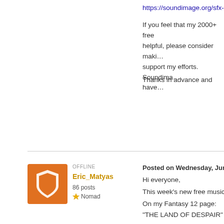https://soundimage.org/sfx-w...
If you feel that my 2000+ free tracks are helpful, please consider making a donation to support my efforts. Soundima...
Thanks in advance and have...
OFFLINE
Eric_Matyas
86 posts
Nomad
Posted on Wednesday, June 30, 2021 10:...
Hi everyone,
This week's new free music tr...
On my Fantasy 12 page:
“THE LAND OF DESPAIR”
https://soundimage.org/fantas...
And on my Sci-Fi 10 page:
“DIGITAL GRUNGE”
https://soundimage.org/sci-fi-...
Don't forget to check out my ... of my tracks from various ge...